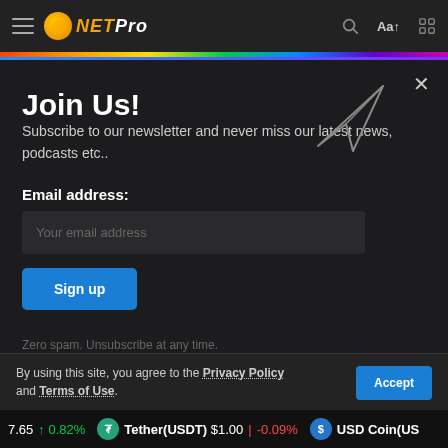NETPro (logo) — browser top bar with hamburger, search, Aa, settings icons
Join Us!
Subscribe to our newsletter and never miss our latest news, podcasts etc..
Email address:
Your email address
Sign up
Zero spam. Unsubscribe at any time.
By using this site, you agree to the Privacy Policy and Terms of Use.
7.65 ↑ 0.82%   Tether(USDT) $1.00 ↓ -0.09%   USD Coin(US...